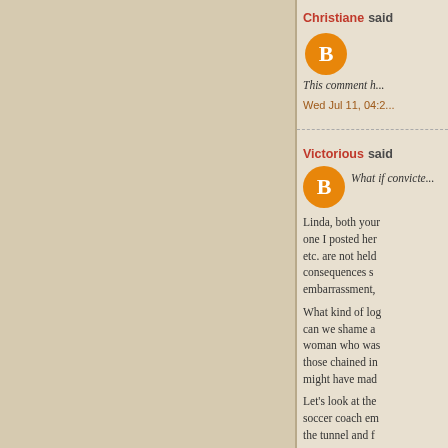Christiane said...
This comment h...
Wed Jul 11, 04:2...
Victorious said...
What if convicte...
Linda, both your... one I posted her... etc. are not held... consequences s... embarrassment,...
What kind of log... can we shame a... woman who was... those chained in... might have mad...
Let's look at the... soccer coach em... the tunnel and f...